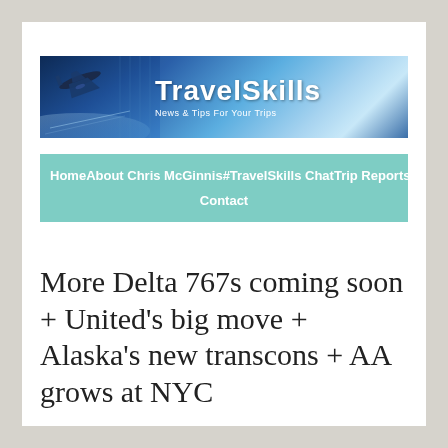[Figure (logo): TravelSkills banner with airplane silhouette on blue gradient background. Text reads TRAVELSKILLS News & Tips For Your Trips]
Home  About Chris McGinnis  #TravelSkills Chat  Trip Reports  Contact
More Delta 767s coming soon + United's big move + Alaska's new transcons + AA grows at NYC
September 18, 2015